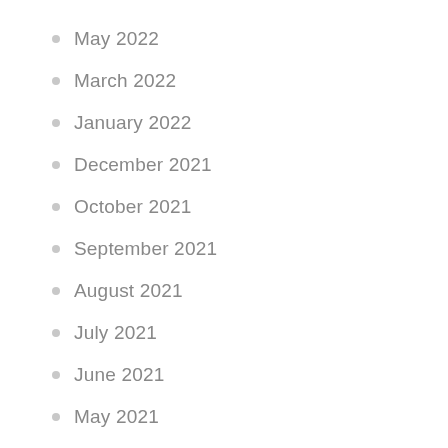May 2022
March 2022
January 2022
December 2021
October 2021
September 2021
August 2021
July 2021
June 2021
May 2021
March 2021